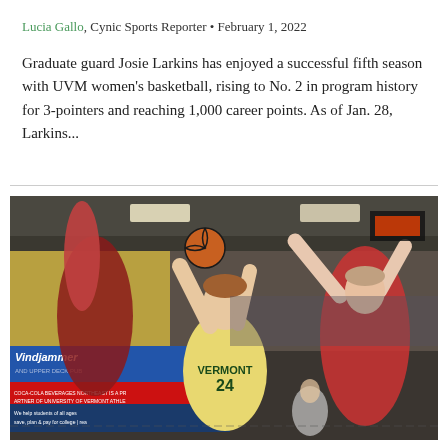Lucia Gallo, Cynic Sports Reporter • February 1, 2022
Graduate guard Josie Larkins has enjoyed a successful fifth season with UVM women's basketball, rising to No. 2 in program history for 3-pointers and reaching 1,000 career points. As of Jan. 28, Larkins...
[Figure (photo): Basketball player wearing Vermont #24 jersey going up for a layup between two defenders in red uniforms, inside an indoor gymnasium with Windjammer and other sponsor banners visible on the wall.]